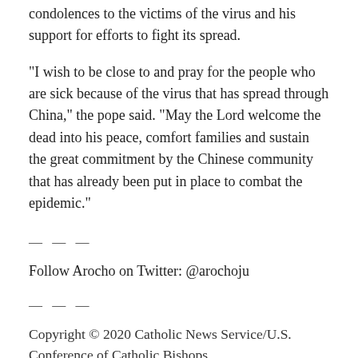condolences to the victims of the virus and his support for efforts to fight its spread.
"I wish to be close to and pray for the people who are sick because of the virus that has spread through China," the pope said. "May the Lord welcome the dead into his peace, comfort families and sustain the great commitment by the Chinese community that has already been put in place to combat the epidemic."
— — —
Follow Arocho on Twitter: @arochoju
— — —
Copyright © 2020 Catholic News Service/U.S. Conference of Catholic Bishops. www.catholicnews.com. All rights reserved. Republishing or redistributing of CNS content, including by framing or similar means without prior permission, is prohibited. You may link to stories on our public site. This copy is for your personal, non-commercial use only. To